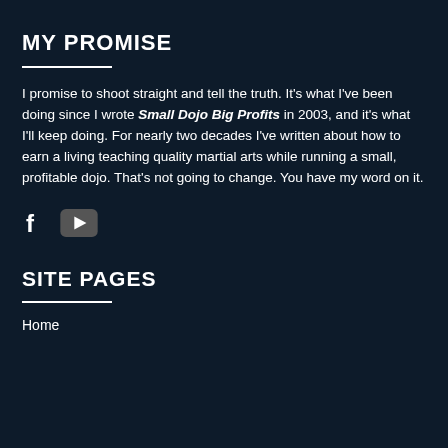MY PROMISE
I promise to shoot straight and tell the truth. It's what I've been doing since I wrote Small Dojo Big Profits in 2003, and it's what I'll keep doing. For nearly two decades I've written about how to earn a living teaching quality martial arts while running a small, profitable dojo. That's not going to change. You have my word on it.
[Figure (infographic): Social media icons: Facebook (f) and YouTube (play button) icons displayed horizontally]
SITE PAGES
Home